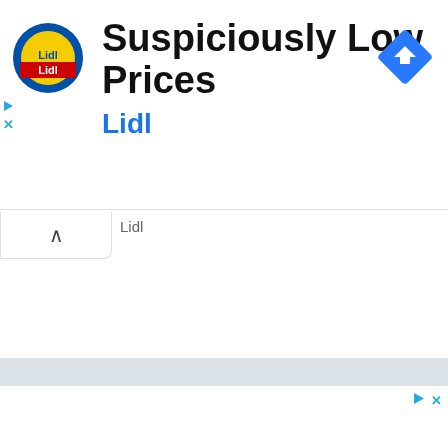[Figure (screenshot): Lidl advertisement banner showing the Lidl logo (yellow circle with blue border and red 'Lidl' text), the ad headline 'Suspiciously Low Prices', the brand name 'Lidl' in blue, a blue diamond navigation/directions icon in the top right, and ad control buttons (play triangle and X) on the left side. Below the ad is a collapse/chevron tab. A second blank ad area appears at the bottom with ad control icons in top-right.]